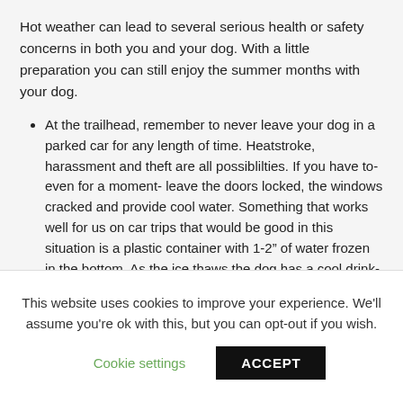Hot weather can lead to several serious health or safety concerns in both you and your dog. With a little preparation you can still enjoy the summer months with your dog.
At the trailhead, remember to never leave your dog in a parked car for any length of time. Heatstroke, harassment and theft are all possiblilties. If you have to- even for a moment- leave the doors locked, the windows cracked and provide cool water. Something that works well for us on car trips that would be good in this situation is a plastic container with 1-2" of water frozen in the bottom. As the ice thaws the dog has a cool drink- and it won't spill.
Always have plenty of water on hand. If this means treating some along the way, do it. Dehydration can set in in as little as 15 minutes and is not to be treated lightly. Plan on at least
This website uses cookies to improve your experience. We'll assume you're ok with this, but you can opt-out if you wish.
Cookie settings   ACCEPT